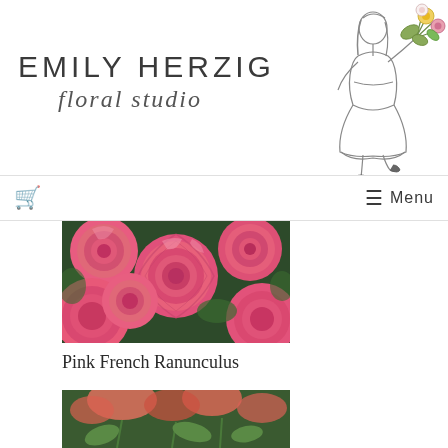[Figure (logo): Emily Herzig Floral Studio logo with illustrated girl holding flower bouquet. Text reads 'EMILY HERZIG' in spaced sans-serif and 'floral studio' in italic script below.]
🛒   ☰ Menu
[Figure (photo): Close-up photograph of pink French Ranunculus flowers, tightly packed blooms in vivid pink against green foliage background.]
Pink French Ranunculus
[Figure (photo): Partial photograph at bottom of page showing flowers (likely another floral product image), cut off by page edge.]